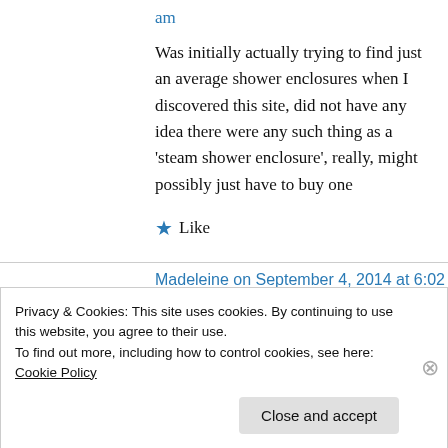am
Was initially actually trying to find just an average shower enclosures when I discovered this site, did not have any idea there were any such thing as a ‘steam shower enclosure’, really, might possibly just have to buy one
★ Like
Madeleine on September 4, 2014 at 6:02 pm
Privacy & Cookies: This site uses cookies. By continuing to use this website, you agree to their use.
To find out more, including how to control cookies, see here: Cookie Policy